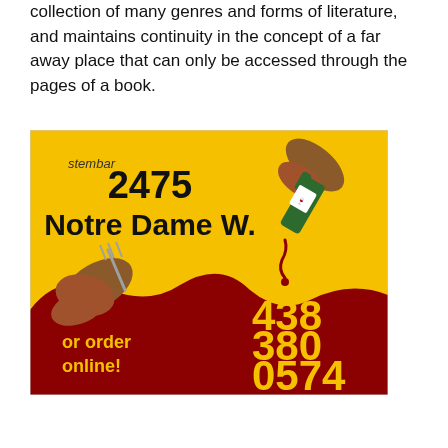collection of many genres and forms of literature, and maintains continuity in the concept of a far away place that can only be accessed through the pages of a book.
[Figure (illustration): Advertisement for Stembar restaurant at 2475 Notre Dame W. with phone number 438 380 0574. Yellow background with illustrated hands holding a fork and a bottle pouring red wine. Bold black and yellow text on dark red splash area. 'or order online!' text in bottom left.]